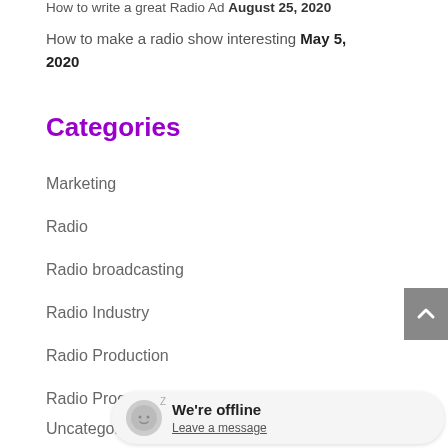How to write a great Radio Ad August 25, 2020
How to make a radio show interesting May 5, 2020
Categories
Marketing
Radio
Radio broadcasting
Radio Industry
Radio Production
Radio Programming
Uncategorized
We're offline
Leave a message